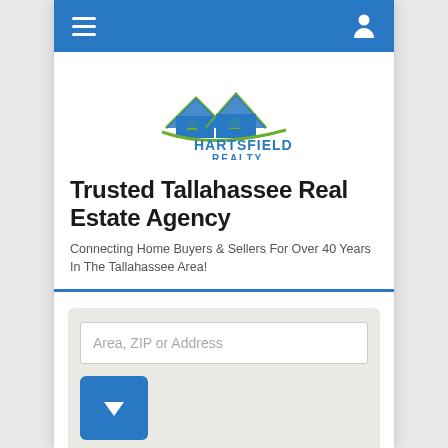[Figure (screenshot): Mobile website screenshot for Hartsfield Realty with navigation bar, logo, heading, subheading, and search/refine widget]
[Figure (logo): Hartsfield Realty logo with two house silhouettes in blue and green, and text 'HARTSFIELD REALTY']
Trusted Tallahassee Real Estate Agency
Connecting Home Buyers & Sellers For Over 40 Years In The Tallahassee Area!
Area, ZIP or Address
Refine